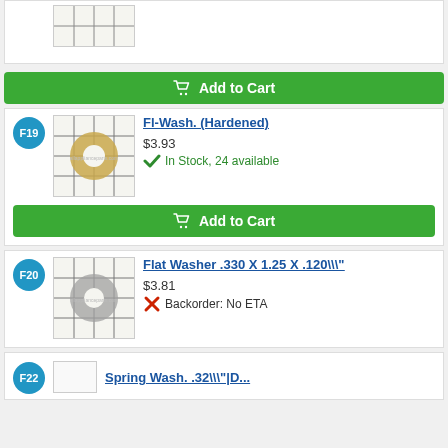[Figure (photo): Top partial product image - flat washer on grid background]
Add to Cart (top partial button)
F19
[Figure (photo): Fl-Wash. (Hardened) - gold/tan flat washer on grid background, watermark allapplianceparts.com]
Fl-Wash. (Hardened)
$3.93
In Stock, 24 available
Add to Cart
F20
[Figure (photo): Flat Washer .330 X 1.25 X .120\\" - silver/grey flat washer on grid background, watermark allapplianceparts.com]
Flat Washer .330 X 1.25 X .120\\"
$3.81
Backorder: No ETA
F22
Spring Wash. .32\\"|D...